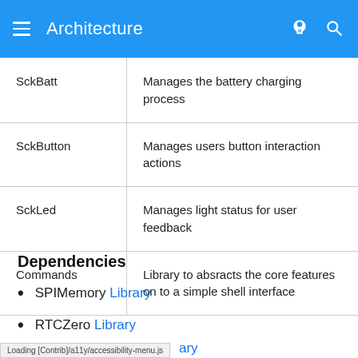Architecture
| SckBatt | Manages the battery charging process |
| SckButton | Manages users button interaction actions |
| SckLed | Manages light status for user feedback |
| Commands | Library to absracts the core features on to a simple shell interface |
Dependencies
SPIMemory Library
RTCZero Library
SdFat Library
Loading [Contrib]/a11y/accessibility-menu.js